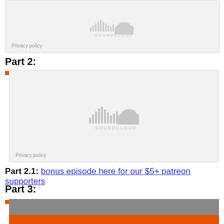[Figure (screenshot): SoundCloud embedded player (top, partially visible) with Privacy policy link]
Part 2:
[Figure (screenshot): SoundCloud embedded player for Part 2 with SoundCloud logo and Privacy policy link]
Part 2.1: bonus episode here for our $5+ patreon supporters
Part 3:
[Figure (screenshot): Partially visible embedded player for Part 3 with orange bar at bottom]